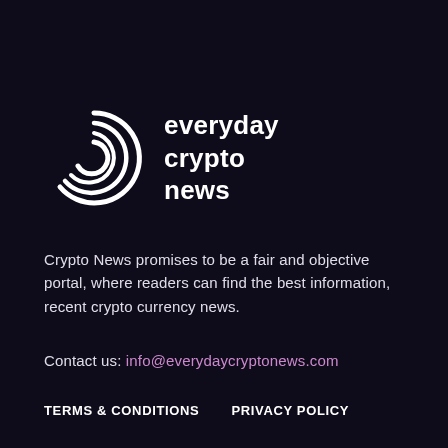[Figure (logo): Everyday Crypto News logo — circular concentric arcs forming a stylized C symbol in white, alongside bold white text reading 'everyday crypto news']
Crypto News promises to be a fair and objective portal, where readers can find the best information, recent crypto currency news.
Contact us: info@everydaycryptonews.com
TERMS & CONDITIONS   PRIVACY POLICY